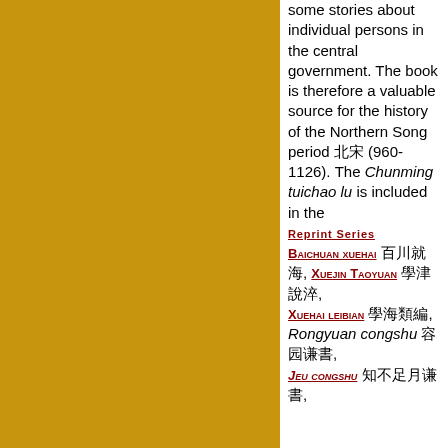some stories about individual persons in the central government. The book is therefore a valuable source for the history of the Northern Song period 北宋 (960-1126). The Chunming tuichao lu is included in the REPRINT SERIES Baichuan xuehai 百川學海, Xuejin taoyuan 學津討原, Xuehai leibian 學海類編, Rongyuan congshu 容園叢書, Jeu congshu 知不足齋叢書,